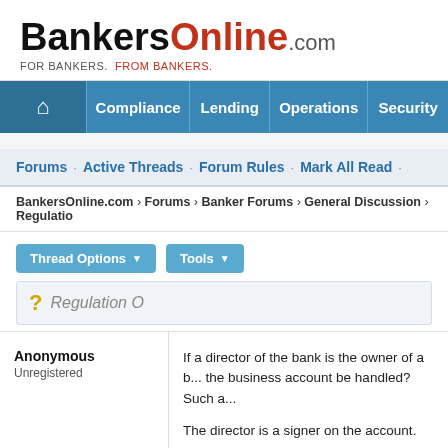[Figure (logo): BankersOnline.com logo with tagline FOR BANKERS. FROM BANKERS.]
Compliance · Lending · Operations · Security
Forums · Active Threads · Forum Rules · Mark All Read ·
BankersOnline.com › Forums › Banker Forums › General Discussion › Regulation
Thread Options ▼  Tools ▼
Regulation O
Anonymous
Unregistered
If a director of the bank is the owner of a b... the business account be handled? Such a...

The director is a signer on the account.
Return to Top